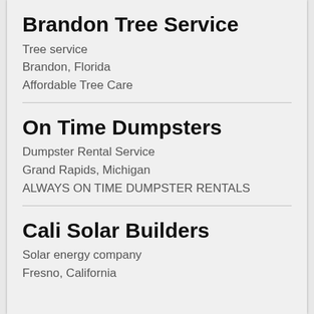Brandon Tree Service
Tree service
Brandon, Florida
Affordable Tree Care
On Time Dumpsters
Dumpster Rental Service
Grand Rapids, Michigan
ALWAYS ON TIME DUMPSTER RENTALS
Cali Solar Builders
Solar energy company
Fresno, California